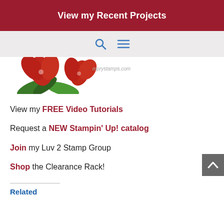View my Recent Projects
[Figure (illustration): Red hibiscus flowers with green leaves, partial website logo/header image cropped at top]
View my FREE Video Tutorials
Request a NEW Stampin' Up! catalog
Join my Luv 2 Stamp Group
Shop the Clearance Rack!
Related